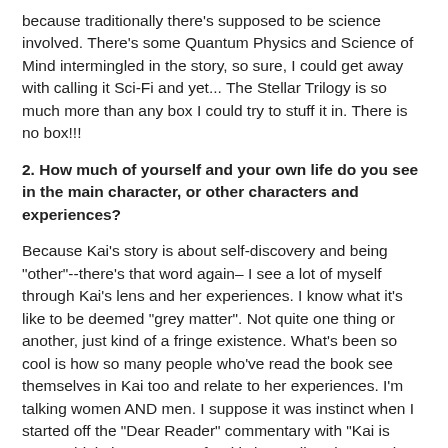because traditionally there's supposed to be science involved. There's some Quantum Physics and Science of Mind intermingled in the story, so sure, I could get away with calling it Sci-Fi and yet... The Stellar Trilogy is so much more than any box I could try to stuff it in. There is no box!!!
2. How much of yourself and your own life do you see in the main character, or other characters and experiences?
Because Kai's story is about self-discovery and being "other"--there's that word again– I see a lot of myself through Kai's lens and her experiences. I know what it's like to be deemed "grey matter". Not quite one thing or another, just kind of a fringe existence. What's been so cool is how so many people who've read the book see themselves in Kai too and relate to her experiences. I'm talking women AND men. I suppose it was instinct when I started off the "Dear Reader" commentary with "Kai is you." I think the essence of Kai is in us all. Kai means love by the way. To answer your question, there's a lot of me in Kai, but there's a lot of other people in her too. The other characters, to be honest, they aren't based on any people I know. They created themselves, our conversation space for Kai's inner...